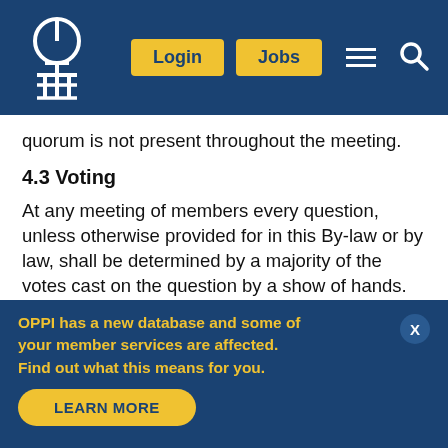Login  Jobs  [menu] [search]
quorum is not present throughout the meeting.
4.3 Voting
At any meeting of members every question, unless otherwise provided for in this By-law or by law, shall be determined by a majority of the votes cast on the question by a show of hands. In the case of an equality of votes cast either on a show of hands and proxy count or on a mail ballot or on the result of
OPPI has a new database and some of your member services are affected. Find out what this means for you.
LEARN MORE